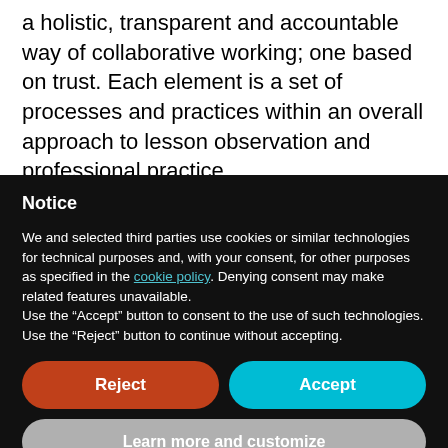a holistic, transparent and accountable way of collaborative working; one based on trust. Each element is a set of processes and practices within an overall approach to lesson observation and professional practice.
Notice
We and selected third parties use cookies or similar technologies for technical purposes and, with your consent, for other purposes as specified in the cookie policy. Denying consent may make related features unavailable.
Use the “Accept” button to consent to the use of such technologies. Use the “Reject” button to continue without accepting.
Reject
Accept
Learn more and customize